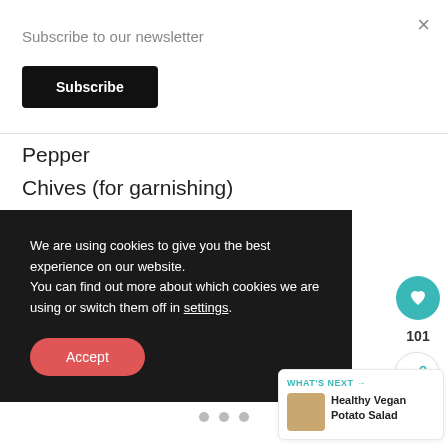×
Subscribe to our newsletter
Subscribe
Pepper
Chives (for garnishing)
We are using cookies to give you the best experience on our website.
You can find out more about which cookies we are using or switch them off in settings.
Accept
101
WHAT'S NEXT →
Healthy Vegan Potato Salad